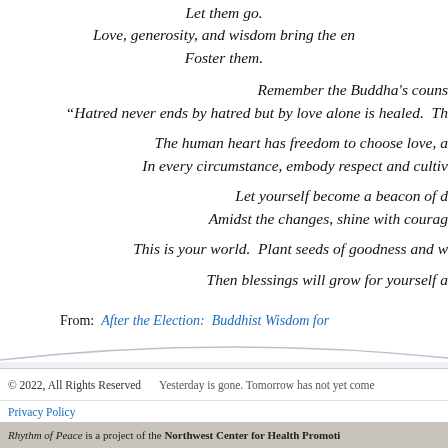Let them go.
Love, generosity, and wisdom bring the en...
Foster them.
Remember the Buddha's couns...
"Hatred never ends by hatred but by love alone is healed. Th...
The human heart has freedom to choose love, a...
In every circumstance, embody respect and cultiv...
Let yourself become a beacon of d...
Amidst the changes, shine with courag...
This is your world. Plant seeds of goodness and w...
Then blessings will grow for yourself a...
From:  After the Election: Buddhist Wisdom for...
© 2022, All Rights Reserved   Yesterday is gone. Tomorrow has not yet come...
Privacy Policy
Rhythm of Peace is a project of the Northwest Center for Health Promoti...